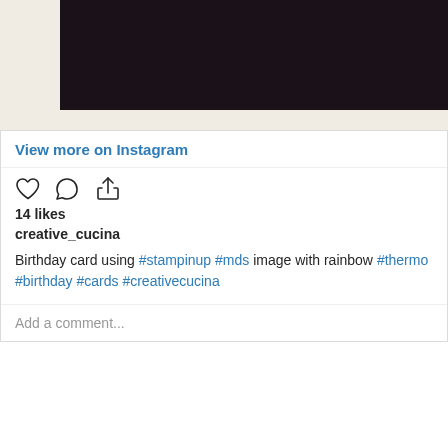[Figure (photo): Top portion of Instagram post showing a dark photo of a birthday card, partially visible with beige border/mat]
View more on Instagram
14 likes
creative_cucina
Birthday card using #stampinup #mds image with rainbow #thermo #birthday #cards #creativecucina
Add a comment...
[Figure (photo): Avatar/profile icon of creative_cucina with a butterfly logo]
creative_cucina
84 followers